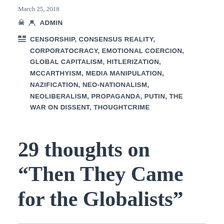March 25, 2018
ADMIN
CENSORSHIP, CONSENSUS REALITY, CORPORATOCRACY, EMOTIONAL COERCION, GLOBAL CAPITALISM, HITLERIZATION, MCCARTHYISM, MEDIA MANIPULATION, NAZIFICATION, NEO-NATIONALISM, NEOLIBERALISM, PROPAGANDA, PUTIN, THE WAR ON DISSENT, THOUGHTCRIME
29 thoughts on “Then They Came for the Globalists”